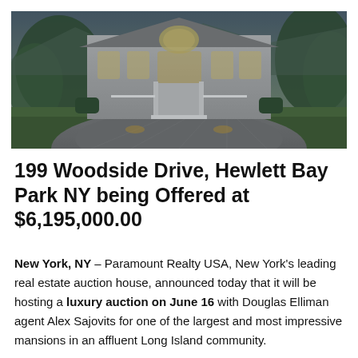[Figure (photo): Exterior photograph of a large luxury mansion at 199 Woodside Drive, Hewlett Bay Park NY, showing a grand stone/stucco home with arched windows, white railing, manicured hedges, and a large cobblestone circular driveway, photographed at dusk.]
199 Woodside Drive, Hewlett Bay Park NY being Offered at $6,195,000.00
New York, NY – Paramount Realty USA, New York's leading real estate auction house, announced today that it will be hosting a luxury auction on June 16 with Douglas Elliman agent Alex Sajovits for one of the largest and most impressive mansions in an affluent Long Island community.